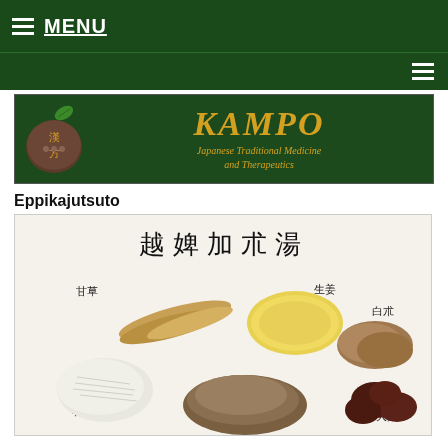MENU
[Figure (illustration): KAMPO Japanese Traditional Medicine and Therapeutics banner with logo showing Chinese characters on a dark stone and a leaf]
Eppikajutsuto
[Figure (photo): Herbal ingredients of Eppikajutsuto with Japanese kanji labels: 越婢加朮湯 (title), 甘草 (licorice root), 生姜 (ginger), 白朮 (white atractylodes), 石膏 (gypsum), 大棗 (jujube), and other herbs arranged on white background]